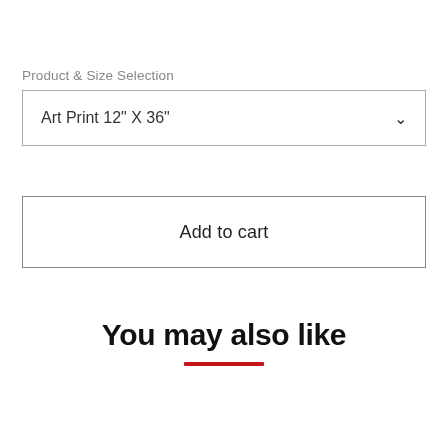Product & Size Selection
Art Print 12" X 36"
Add to cart
You may also like